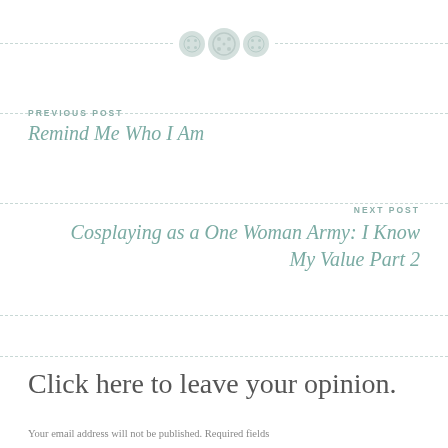[Figure (illustration): Decorative divider with three button-like circles in muted teal/green color between dashed horizontal lines]
PREVIOUS POST
Remind Me Who I Am
NEXT POST
Cosplaying as a One Woman Army: I Know My Value Part 2
Click here to leave your opinion.
Your email address will not be published. Required fields